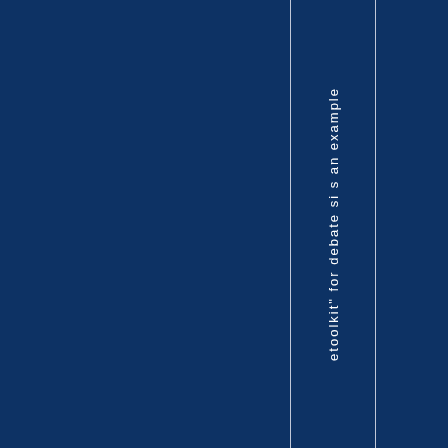etoolkit" for debate si s an example